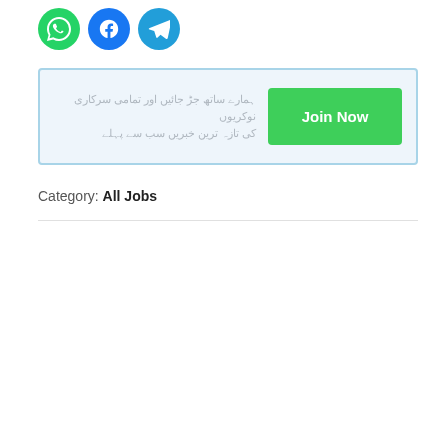[Figure (infographic): Three social media icon circles: WhatsApp (green), Facebook (blue), Telegram (blue)]
Join Now — promotional banner with Hindi/Urdu text and a green Join Now button
Category: All Jobs